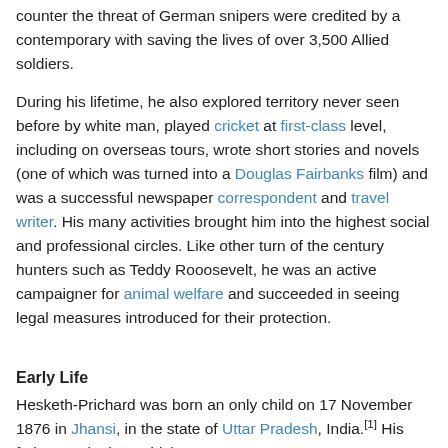counter the threat of German snipers were credited by a contemporary with saving the lives of over 3,500 Allied soldiers.
During his lifetime, he also explored territory never seen before by white man, played cricket at first-class level, including on overseas tours, wrote short stories and novels (one of which was turned into a Douglas Fairbanks film) and was a successful newspaper correspondent and travel writer. His many activities brought him into the highest social and professional circles. Like other turn of the century hunters such as Teddy Rooosevelt, he was an active campaigner for animal welfare and succeeded in seeing legal measures introduced for their protection.
Early Life
Hesketh-Prichard was born an only child on 17 November 1876 in Jhansi, in the state of Uttar Pradesh, India.[1] His father Hesketh Brodrick